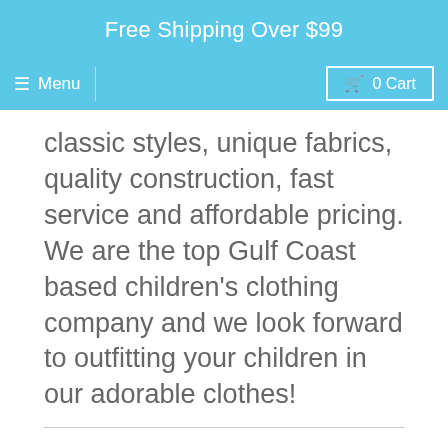Free Shipping Over $99
≡ Menu   🛒 0 Cart
classic styles, unique fabrics, quality construction, fast service and affordable pricing. We are the top Gulf Coast based children's clothing company and we look forward to outfitting your children in our adorable clothes!
Tweet   Save
← OLDER POST   NEWER POST →